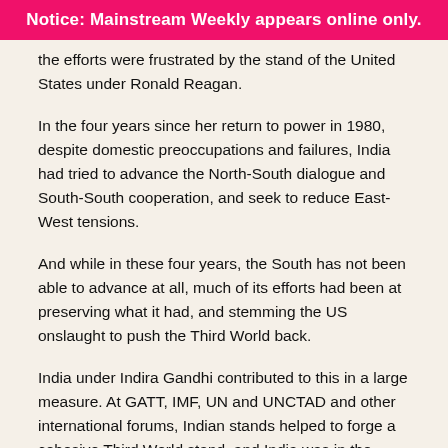Notice: Mainstream Weekly appears online only.
the efforts were frustrated by the stand of the United States under Ronald Reagan.
In the four years since her return to power in 1980, despite domestic preoccupations and failures, India had tried to advance the North-South dialogue and South-South cooperation, and seek to reduce East-West tensions.
And while in these four years, the South has not been able to advance at all, much of its efforts had been at preserving what it had, and stemming the US onslaught to push the Third World back.
India under Indira Gandhi contributed to this in a large measure. At GATT, IMF, UN and UNCTAD and other international forums, Indian stands helped to forge a cohesive Third World stand, and India was in the forefront to resist US pressures.